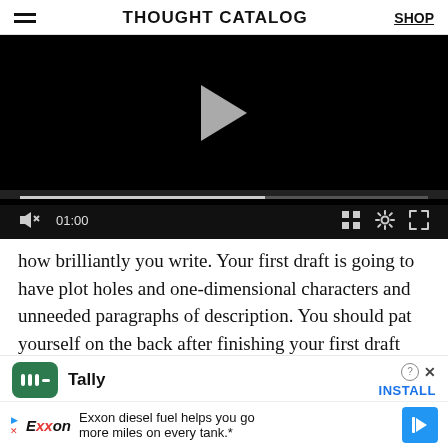THOUGHT CATALOG | SHOP
[Figure (screenshot): Video player showing a paused video with play button, progress bar at about 60%, time display 01:00, and playback controls (mute, grid, settings, fullscreen) on a black background.]
how brilliantly you write. Your first draft is going to have plot holes and one-dimensional characters and unneeded paragraphs of description. You should pat yourself on the back after finishing your first draft because you've accomplished something magical, but you're not done yet. You still have a long way to go.
[Figure (screenshot): Advertisement for Tally app with green logo and INSTALL button, and Exxon diesel fuel banner ad below it.]